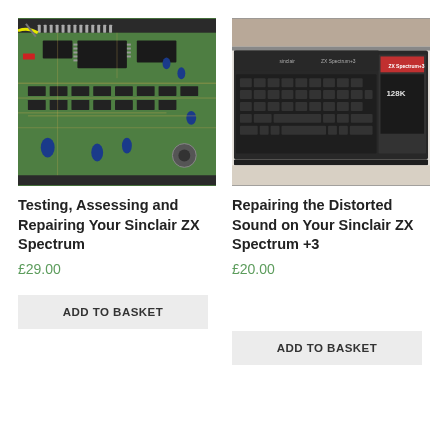[Figure (photo): Close-up photo of a Sinclair ZX Spectrum circuit board (PCB) with chips, capacitors, and traces visible, opened up for repair]
[Figure (photo): Photo of a Sinclair ZX Spectrum +3 computer keyboard, black, on a light surface]
Testing, Assessing and Repairing Your Sinclair ZX Spectrum
£29.00
Repairing the Distorted Sound on Your Sinclair ZX Spectrum +3
£20.00
ADD TO BASKET
ADD TO BASKET